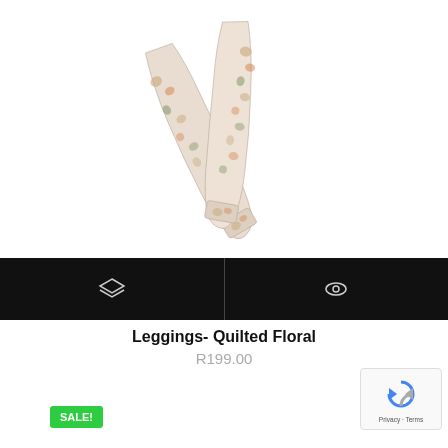[Figure (photo): Floral quilted leggings laid flat against white background, showing a paisley/floral print in cream, orange, green tones]
[Figure (infographic): Black navigation bar with two white icons: a layers/stack icon on the left and an eye/view icon on the right]
Leggings- Quilted Floral
R199.00
SALE!
[Figure (other): reCAPTCHA widget showing the reCAPTCHA logo and Privacy - Terms text]